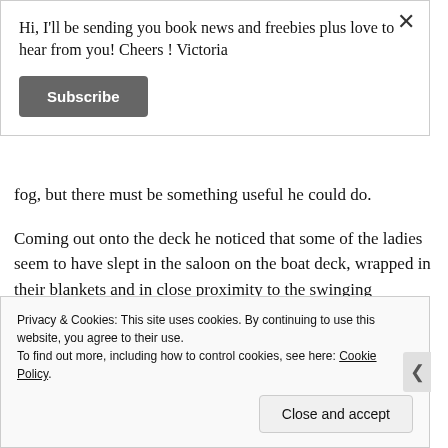Hi, I'll be sending you book news and freebies plus love to hear from you! Cheers ! Victoria
Subscribe
fog, but there must be something useful he could do.
Coming out onto the deck he noticed that some of the ladies seem to have slept in the saloon on the boat deck, wrapped in their blankets and in close proximity to the swinging lifeboats. He has listened to the conversations of several families anxiously pacing the Promenade deck
Privacy & Cookies: This site uses cookies. By continuing to use this website, you agree to their use.
To find out more, including how to control cookies, see here: Cookie Policy
Close and accept